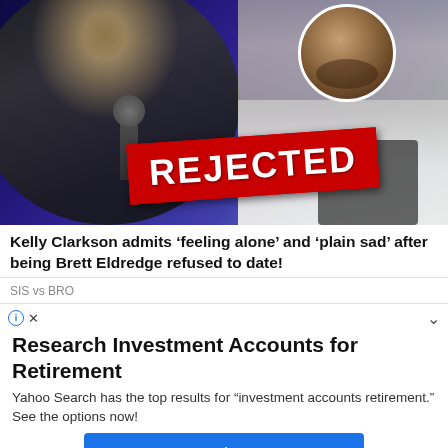[Figure (photo): Composite celebrity photo showing a blonde woman singing into a microphone on the left, a man in a circular inset at top center, and another man on the right with facial stubble wearing a white jacket. A red 'REJECTED' stamp overlaid in the center.]
Kelly Clarkson admits 'feeling alone' and 'plain sad' after being Brett Eldredge refused to date!
SIS vs BRO
[Figure (screenshot): Advertisement: Research Investment Accounts for Retirement. Yahoo Search has the top results for 'investment accounts retirement.' See the options now! Button: continue]
Research Investment Accounts for Retirement
Yahoo Search has the top results for "investment accounts retirement." See the options now!